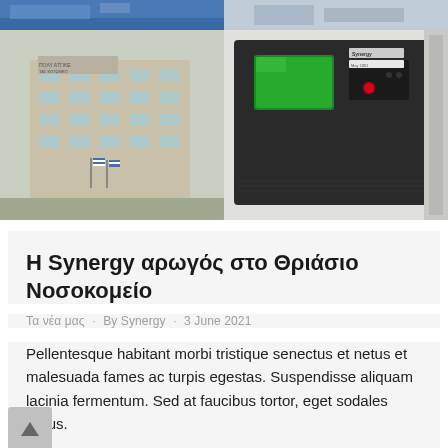[Figure (photo): Top strip photos: blue signage on left, structural/ceiling photo on right]
[Figure (photo): Photo of a multi-story building (Thrasiou Nosokomeiou hospital) with Greek flags in front]
[Figure (photo): Photo of a medical/industrial machine with a green screen display and Synergy branding]
Η Synergy αρωγός στο Θριάσιο Νοσοκομείο
Τα νέα μας · By Synergy · 3 June 2021
Pellentesque habitant morbi tristique senectus et netus et malesuada fames ac turpis egestas. Suspendisse aliquam lacinia fermentum. Sed at faucibus tortor, eget sodales purus.